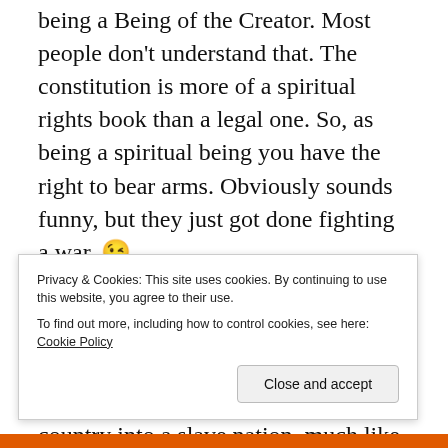being a Being of the Creator. Most people don't understand that. The constitution is more of a spiritual rights book than a legal one. So, as being a spiritual being you have the right to bear arms. Obviously sounds funny, but they just got done fighting a war. 😉
The Second Amendment was so important because they had just fought a government that was corrupt and had pretty much turned it's country into a slave nation, much like the US is today. You might think you are physically free, but you still have to pay for the necessities that will sustain your body temple, as well
Privacy & Cookies: This site uses cookies. By continuing to use this website, you agree to their use. To find out more, including how to control cookies, see here: Cookie Policy
Close and accept